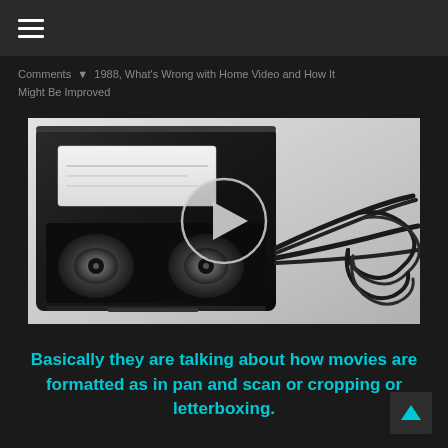≡
Comments  ▼  1988, What's Wrong with Home Video and How It Might Be Improved
[Figure (photo): A black VHS tape with magnetic tape spilling out, shown in black and white/grayscale, with a play button circle overlay in the center]
Basically they are talking about how movies are formatted as in pan and scan or cropping or letterboxing.